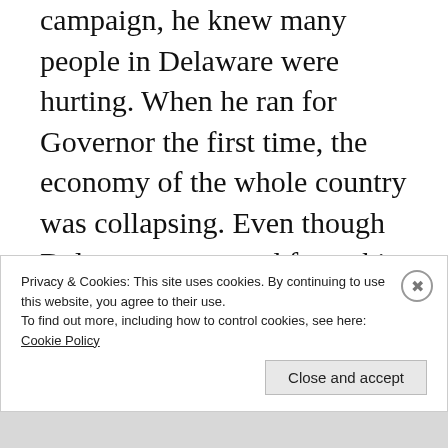campaign, he knew many people in Delaware were hurting. When he ran for Governor the first time, the economy of the whole country was collapsing. Even though Delaware recovered from this, not all of the citizens did. Some never got the jobs back that made them more money. The cities were becoming too violent again. Drug use was up and children were getting shot in the street.
Privacy & Cookies: This site uses cookies. By continuing to use this website, you agree to their use.
To find out more, including how to control cookies, see here: Cookie Policy
Close and accept